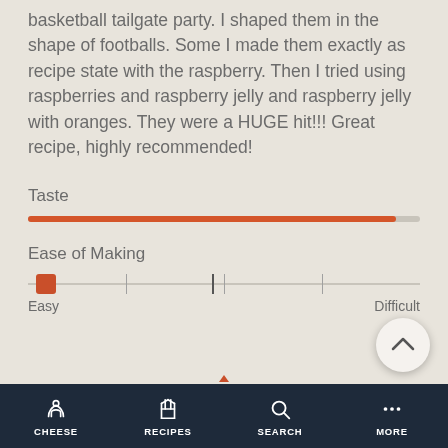basketball tailgate party. I shaped them in the shape of footballs. Some I made them exactly as recipe state with the raspberry. Then I tried using raspberries and raspberry jelly and raspberry jelly with oranges. They were a HUGE hit!!! Great recipe, highly recommended!
Taste
[Figure (other): Taste rating bar — nearly full orange bar indicating high taste rating]
Ease of Making
[Figure (other): Ease of Making slider — thumb at far left (Easy end), with Easy and Difficult labels]
CHEESE   RECIPES   SEARCH   MORE